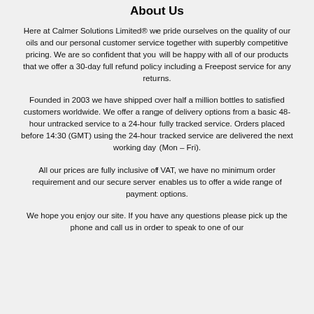About Us
Here at Calmer Solutions Limited® we pride ourselves on the quality of our oils and our personal customer service together with superbly competitive pricing. We are so confident that you will be happy with all of our products that we offer a 30-day full refund policy including a Freepost service for any returns.
Founded in 2003 we have shipped over half a million bottles to satisfied customers worldwide. We offer a range of delivery options from a basic 48-hour untracked service to a 24-hour fully tracked service. Orders placed before 14:30 (GMT) using the 24-hour tracked service are delivered the next working day (Mon – Fri).
All our prices are fully inclusive of VAT, we have no minimum order requirement and our secure server enables us to offer a wide range of payment options.
We hope you enjoy our site. If you have any questions please pick up the phone and call us in order to speak to one of our